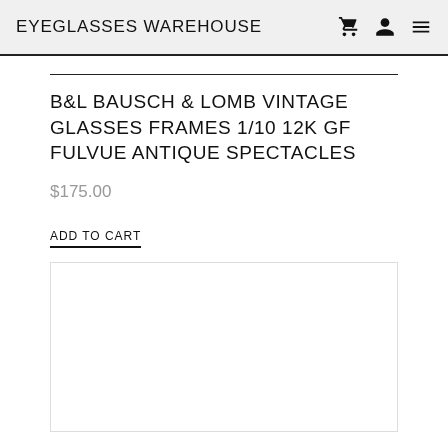EYEGLASSES WAREHOUSE
B&L BAUSCH & LOMB VINTAGE GLASSES FRAMES 1/10 12K GF FULVUE ANTIQUE SPECTACLES
$175.00
ADD TO CART
[Figure (photo): Product image placeholder area (white/blank)]